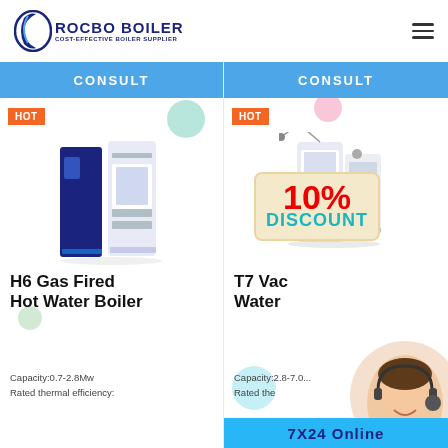[Figure (logo): Rocbo Boiler logo with crescent moon icon and tagline 'Cost-Effective Boiler Supplier']
[Figure (photo): H6 Gas Fired Hot Water Boiler product image showing blue/white boiler units]
H6 Gas Fired Hot Water Boiler
Capacity:0.7-2.8Mw
Rated thermal efficiency:
[Figure (photo): T7 Vacuum Hot Water Boiler product image with 10% discount overlay]
T7 Vacuum Hot Water Boiler
Capacity:2.8-7.0Mw
Rated thermal efficiency: